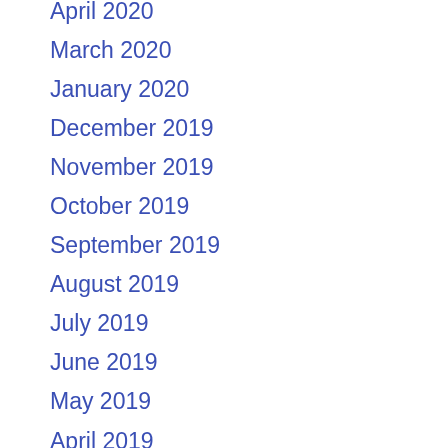April 2020
March 2020
January 2020
December 2019
November 2019
October 2019
September 2019
August 2019
July 2019
June 2019
May 2019
April 2019
March 2019
February 2019
January 2019
December 2018
October 2018
September 2018